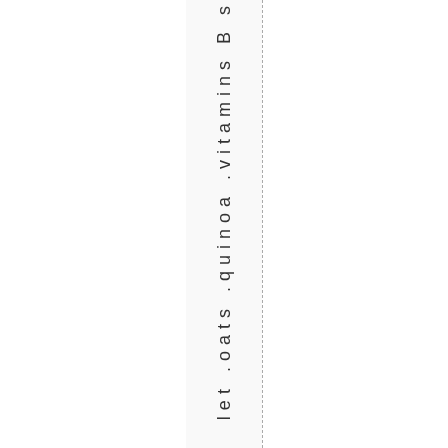let .oats .quinoa .vitamins B s